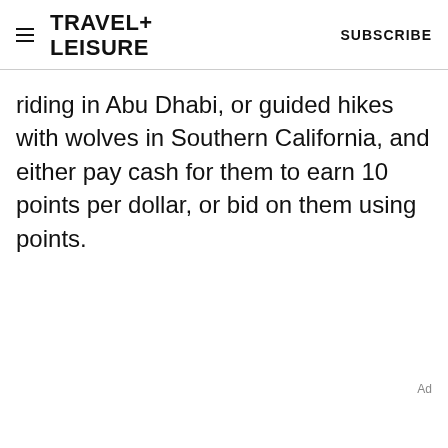TRAVEL+LEISURE  SUBSCRIBE
riding in Abu Dhabi, or guided hikes with wolves in Southern California, and either pay cash for them to earn 10 points per dollar, or bid on them using points.
Ad